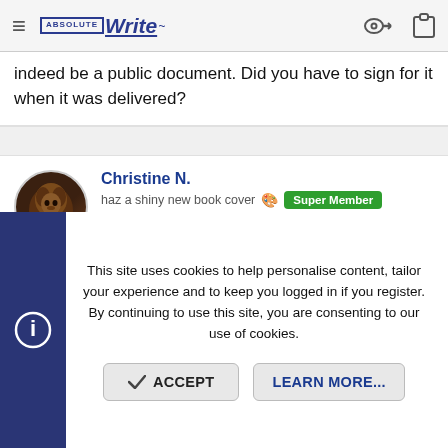AbsoluteWrite navigation bar with logo and icons
indeed be a public document. Did you have to sign for it when it was delivered?
Christine N.
haz a shiny new book cover  Super Member  Registered
Joined: Feb 12, 2005  Messages: 7,705
Reaction score: 1,334
Location: Where the Wild Things Are
Website: www.christine-norris.com
Feb 7, 2007  #34
This site uses cookies to help personalise content, tailor your experience and to keep you logged in if you register. By continuing to use this site, you are consenting to our use of cookies.